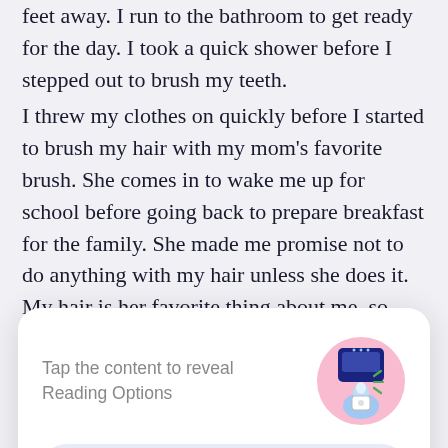feet away. I run to the bathroom to get ready for the day. I took a quick shower before I stepped out to brush my teeth.
I threw my clothes on quickly before I started to brush my hair with my mom's favorite brush. She comes in to wake me up for school before going back to prepare breakfast for the family. She made me promise not to do anything with my hair unless she does it. My hair is her favorite thing about me, so
[Figure (infographic): A modal dialog overlay with rounded white card. Left side shows grey text: 'Tap the content to reveal Reading Options'. Right side shows an illustration of a hand tapping a phone/device with a pink circular background. Below is a blue-tinted rounded button labeled 'GOT IT' in bold blue uppercase letters.]
"Hey, Dad. Thanks for breakfast." I said as I took my